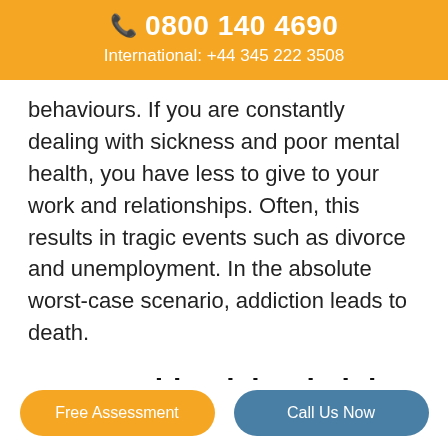📞 0800 140 4690
International: +44 345 222 3508
behaviours. If you are constantly dealing with sickness and poor mental health, you have less to give to your work and relationships. Often, this results in tragic events such as divorce and unemployment. In the absolute worst-case scenario, addiction leads to death.
How Residential Rehab in Melton Mowbray Can Help
If you are referred to a rehab centre by Rehab 4
Free Assessment | Call Us Now